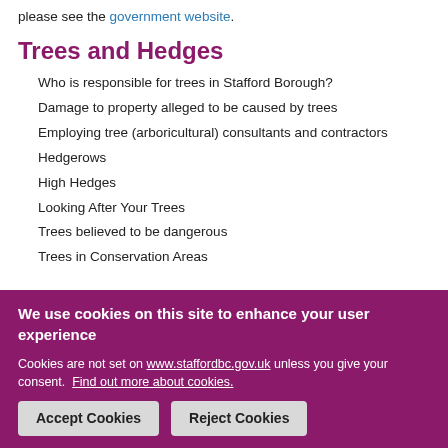please see the government website.
Trees and Hedges
Who is responsible for trees in Stafford Borough?
Damage to property alleged to be caused by trees
Employing tree (arboricultural) consultants and contractors
Hedgerows
High Hedges
Looking After Your Trees
Trees believed to be dangerous
Trees in Conservation Areas
We use cookies on this site to enhance your user experience
Cookies are not set on www.staffordbc.gov.uk unless you give your consent. Find out more about cookies.
Accept Cookies | Reject Cookies